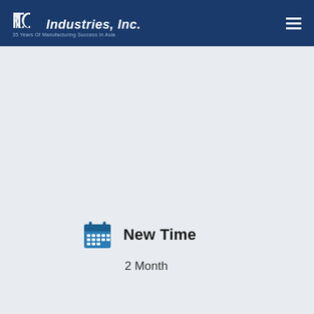MCC Industries, Inc. — 35 Years Of Manufacturing Success In Asia
[Figure (illustration): Large empty light gray content area]
New Time
2 Month